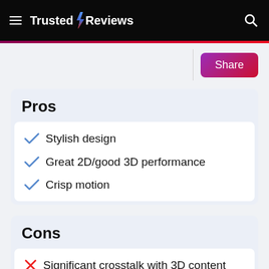Trusted Reviews
Pros
Stylish design
Great 2D/good 3D performance
Crisp motion
Cons
Significant crosstalk with 3D content
No 3D glasses included